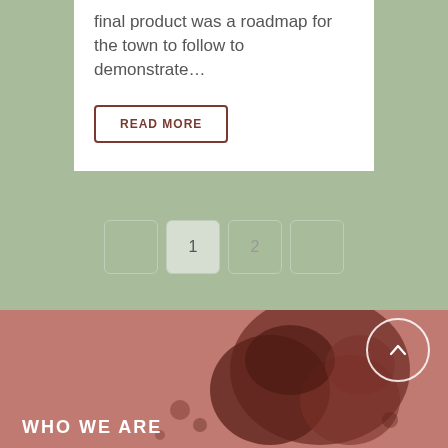final product was a roadmap for the town to follow to demonstrate…
READ MORE
< 1 2 >
[Figure (illustration): Reddish-brown map silhouette/blob shape on a muted rose background]
WHO WE ARE